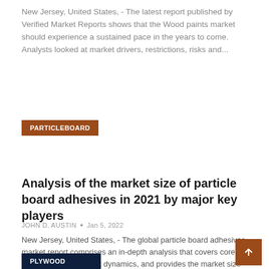New Jersey, United States, - The latest report published by Verified Market Reports shows that the Wood paints market should experience a sustained pace in the years to come. Analysts looked at market drivers, restrictions, risks and...
PARTICLEBOARD
Analysis of the market size of particle board adhesives in 2021 by major key players
JOHN D. AUSTIN • Jan 5, 2022
New Jersey, United States, - The global particle board adhesives market report comprises an in-depth analysis that covers core regional trends, market dynamics, and provides the market size at the national level of the market industry....
PLYWOOD